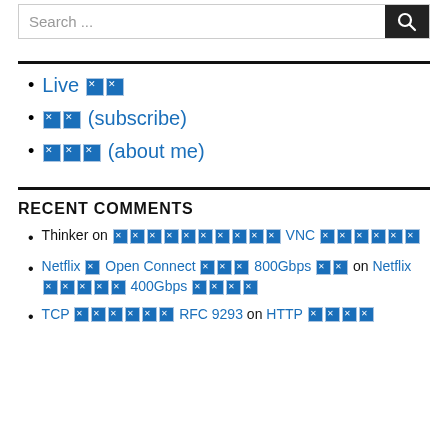Search ...
Live 🔲🔲
🔲🔲 (subscribe)
🔲🔲🔲 (about me)
RECENT COMMENTS
Thinker on 🔲🔲🔲🔲🔲🔲🔲🔲🔲🔲 VNC 🔲🔲🔲🔲🔲🔲
Netflix 🔲 Open Connect 🔲🔲🔲 800Gbps 🔲🔲 on Netflix 🔲🔲🔲🔲🔲 400Gbps 🔲🔲🔲🔲
TCP 🔲🔲🔲🔲🔲🔲 RFC 9293 on HTTP 🔲🔲🔲🔲